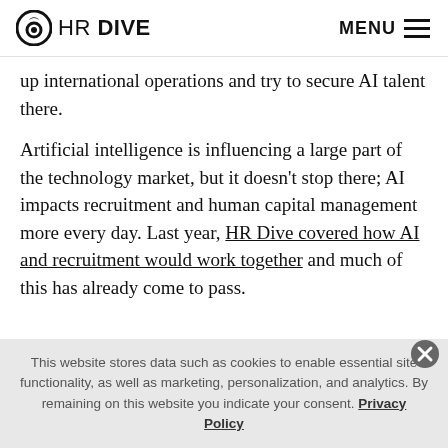HR DIVE  MENU
up international operations and try to secure AI talent there.
Artificial intelligence is influencing a large part of the technology market, but it doesn't stop there; AI impacts recruitment and human capital management more every day. Last year, HR Dive covered how AI and recruitment would work together and much of this has already come to pass.
This website stores data such as cookies to enable essential site functionality, as well as marketing, personalization, and analytics. By remaining on this website you indicate your consent. Privacy Policy